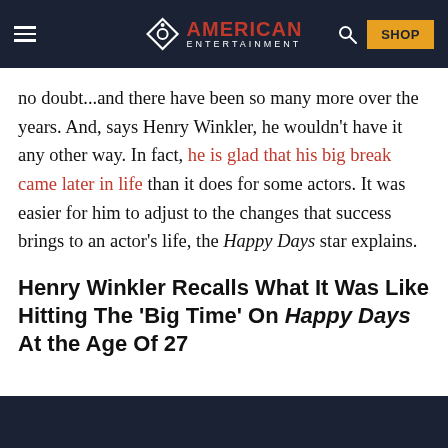AMERICAN ENTERTAINMENT
no doubt...and there have been so many more over the years. And, says Henry Winkler, he wouldn't have it any other way. In fact, he is glad that his big break came later in life than it does for some actors. It was easier for him to adjust to the changes that success brings to an actor's life, the Happy Days star explains.
Henry Winkler Recalls What It Was Like Hitting The 'Big Time' On Happy Days At the Age Of 27